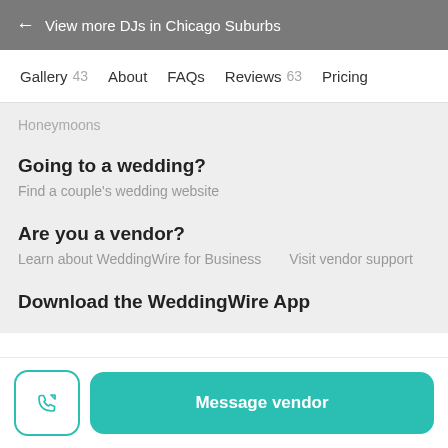← View more DJs in Chicago Suburbs
Gallery 43   About   FAQs   Reviews 63   Pricing
Honeymoons
Going to a wedding?
Find a couple's wedding website
Are you a vendor?
Learn about WeddingWire for Business   Visit vendor support
Download the WeddingWire App
Message vendor